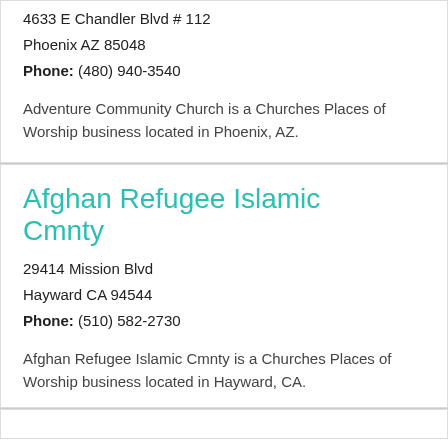4633 E Chandler Blvd # 112
Phoenix AZ 85048
Phone: (480) 940-3540
Adventure Community Church is a Churches Places of Worship business located in Phoenix, AZ.
Afghan Refugee Islamic Cmnty
29414 Mission Blvd
Hayward CA 94544
Phone: (510) 582-2730
Afghan Refugee Islamic Cmnty is a Churches Places of Worship business located in Hayward, CA.